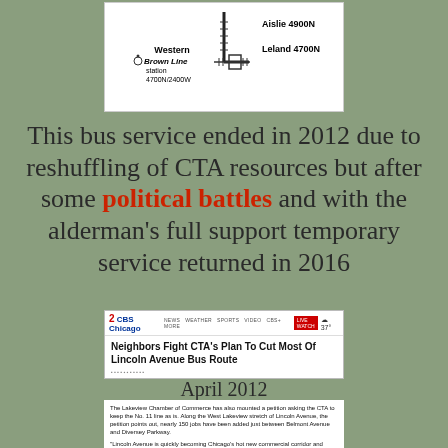[Figure (map): Map diagram showing Western Brown Line station at 4700N/2400W with L-shaped track, cross ties, and street labels Aislie 4900N and Leland 4700N]
This bus service ended in 2012 due to reshuffling of CTA resources but after some political battles and with the alderman's full support temporary service returned in 2016
[Figure (screenshot): CBS Chicago website screenshot with headline: Neighbors Fight CTA's Plan To Cut Most Of Lincoln Avenue Bus Route]
April 2012
The Lakeview Chamber of Commerce has also mounted a petition asking the CTA to keep the No. 11 line as is. Along the West Lakeview stretch of Lincoln Avenue, the petition points out, nearly 150 jobs have been added just between Belmont Avenue and Diversey Parkway.

"Lincoln Avenue is quickly becoming Chicago's hot new commercial corridor and accessible public transportation fosters continued growth. The local work force and consumers rely on the #11 Bus to get them to this area of Lincoln Avenue," the petition says. "The elimination of bus service here may squash Lincoln Avenue's Renaissance. We cannot allow that to happen."